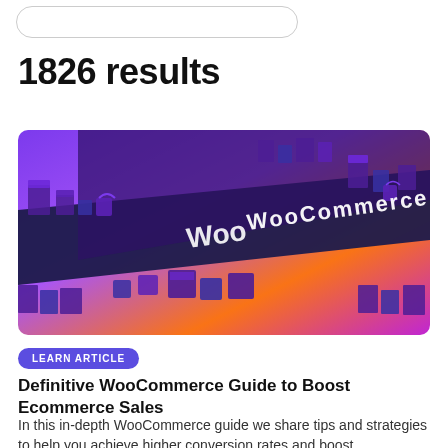[Figure (screenshot): Partial search bar UI element — a pill-shaped input box with rounded border visible at top of page]
1826 results
[Figure (illustration): WooCommerce promotional illustration — isometric 3D scene with purple/orange gradient background, geometric building blocks, shopping bags, boxes, and the WooCommerce logo text diagonally across a dark band]
LEARN ARTICLE
Definitive WooCommerce Guide to Boost Ecommerce Sales
In this in-depth WooCommerce guide we share tips and strategies to help you achieve higher conversion rates and boost ecommerce